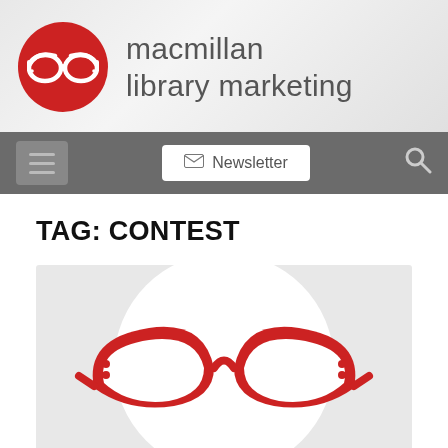[Figure (logo): Macmillan Library Marketing website screenshot showing logo with red circle containing cat-eye glasses icon, site title 'macmillan library marketing', navigation bar with hamburger menu, newsletter button, and search icon, followed by TAG: CONTEST heading and a thumbnail image with red cat-eye glasses on grey background.]
TAG: CONTEST